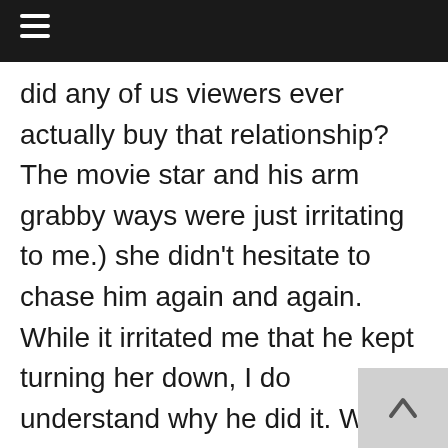≡
did any of us viewers ever actually buy that relationship? The movie star and his arm grabby ways were just irritating to me.) she didn't hesitate to chase him again and again. While it irritated me that he kept turning her down, I do understand why he did it. With the way that everyone treated him, he would always be a liability to her. Not to mention that with the hospital only hiring from the connected university, so once he finishes his residency, the chances of him actually getting hired at the hospital are less than none. Yes, him backing away from the relationship is overly sacrificing, but part